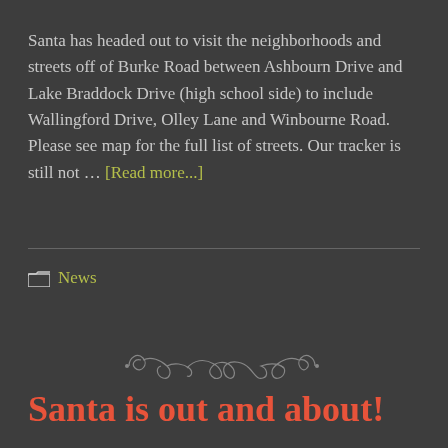Santa has headed out to visit the neighborhoods and streets off of Burke Road between Ashbourn Drive and Lake Braddock Drive (high school side) to include Wallingford Drive, Olley Lane and Winbourne Road. Please see map for the full list of streets. Our tracker is still not … [Read more...]
News
[Figure (illustration): Decorative ornamental divider with scrollwork and flourishes]
Santa is out and about!